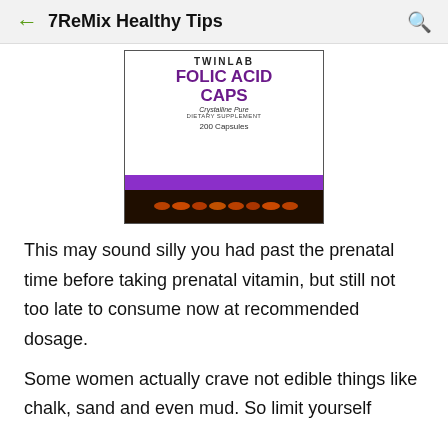7ReMix Healthy Tips
[Figure (photo): A bottle of Twinlab Folic Acid Caps, 200 Capsules, Crystalline Pure Dietary Supplement, with orange capsules visible through the bottom of the bottle. The label has purple text and a purple band.]
This may sound silly you had past the prenatal time before taking prenatal vitamin, but still not too late to consume now at recommended dosage.
Some women actually crave not edible things like chalk, sand and even mud. So limit yourself